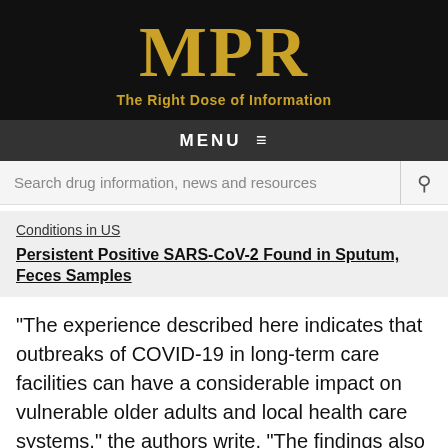MPR
The Right Dose of Information
MENU ≡
Search drug information, news and resources
Conditions in US
Persistent Positive SARS-CoV-2 Found in Sputum, Feces Samples
"The experience described here indicates that outbreaks of COVID-19 in long-term care facilities can have a considerable impact on vulnerable older adults and local health care systems," the authors write. "The findings also suggest that once COVID-19 has been introduced into a